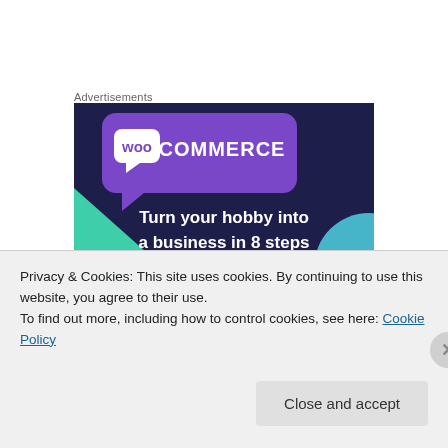Advertisements
[Figure (illustration): WooCommerce advertisement banner. Dark navy/purple background with a teal green triangle shape on the left and a light blue arc on the lower right. A purple speech-bubble style box in the upper area contains the WooCommerce logo (white 'woo' in a speech bubble icon followed by 'COMMERCE' in white text). Below in large bold white text: 'Turn your hobby into a business in 8 steps']
Despite any amount of confidence one may have leaving
Privacy & Cookies: This site uses cookies. By continuing to use this website, you agree to their use.
To find out more, including how to control cookies, see here: Cookie Policy